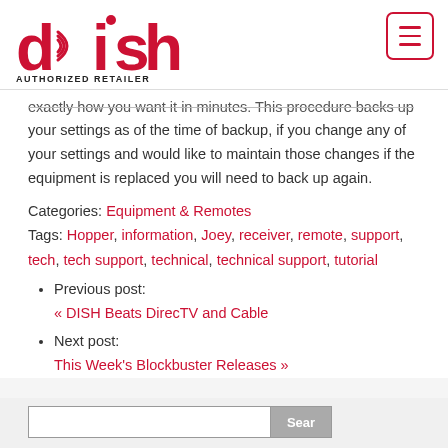[Figure (logo): DISH Authorized Retailer logo in red with menu hamburger button]
exactly how you want it in minutes. This procedure backs up your settings as of the time of backup, if you change any of your settings and would like to maintain those changes if the equipment is replaced you will need to back up again.
Categories: Equipment & Remotes
Tags: Hopper, information, Joey, receiver, remote, support, tech, tech support, technical, technical support, tutorial
Previous post: « DISH Beats DirecTV and Cable
Next post: This Week's Blockbuster Releases »